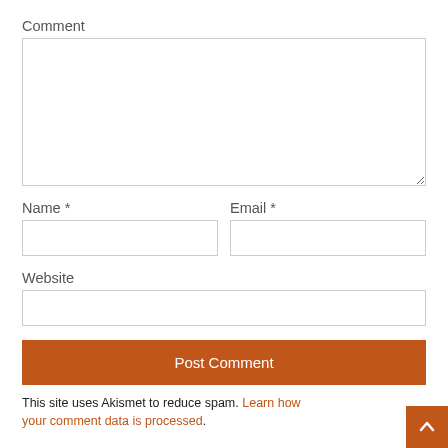Comment
[Figure (screenshot): Comment textarea input field]
Name *
Email *
[Figure (screenshot): Name text input field]
[Figure (screenshot): Email text input field]
Website
[Figure (screenshot): Website text input field]
Post Comment
This site uses Akismet to reduce spam. Learn how your comment data is processed.